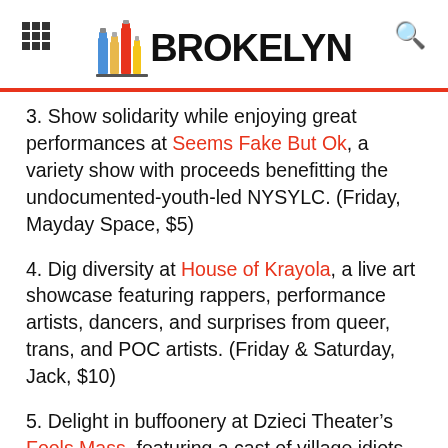BROKELYN
3. Show solidarity while enjoying great performances at Seems Fake But Ok, a variety show with proceeds benefitting the undocumented-youth-led NYSYLC. (Friday, Mayday Space, $5)
4. Dig diversity at House of Krayola, a live art showcase featuring rappers, performance artists, dancers, and surprises from queer, trans, and POC artists. (Friday & Saturday, Jack, $10)
5. Delight in buffoonery at Dzieci Theater's Fools Mass, featuring a cast of village idiots and comedic audience participation. (Friday through Sunday, varying locations, $10)